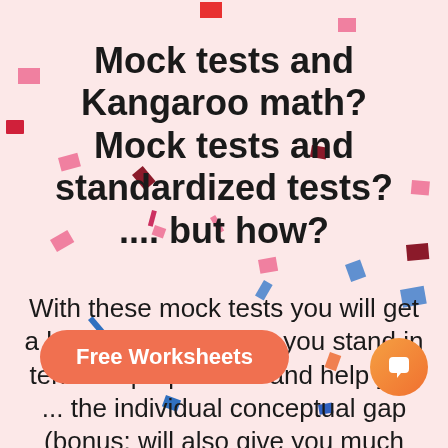Mock tests and Kangaroo math? Mock tests and standardized tests? .... but how?
With these mock tests you will get a head start on where you stand in terms of preparation and help you ... the individual conceptual gap (bonus: will also give you much needed